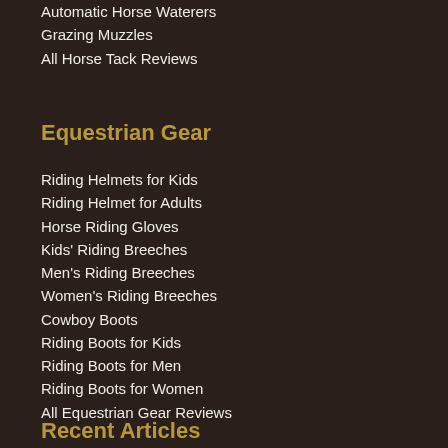Automatic Horse Waterers
Grazing Muzzles
All Horse Tack Reviews
Equestrian Gear
Riding Helmets for Kids
Riding Helmet for Adults
Horse Riding Gloves
Kids' Riding Breeches
Men's Riding Breeches
Women's Riding Breeches
Cowboy Boots
Riding Boots for Kids
Riding Boots for Men
Riding Boots for Women
All Equestrian Gear Reviews
Recent Articles